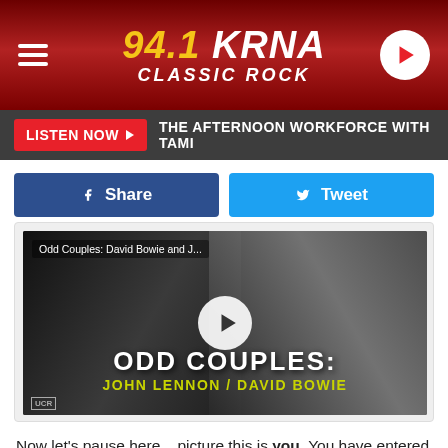94.1 KRNA CLASSIC ROCK
LISTEN NOW ▶  THE AFTERNOON WORKFORCE WITH TAMI
Share  Tweet
[Figure (screenshot): Video thumbnail showing John Lennon and David Bowie in black and white, titled 'Odd Couples: David Bowie and J...' with overlay text 'ODD COUPLES: JOHN LENNON / DAVID BOWIE' and UCR logo]
Now let's pause here... picture this is you. You have entered your neighborhood Casey's hoping to get ice, and logically some pizza. You witness an armed robber. Do you A). turn